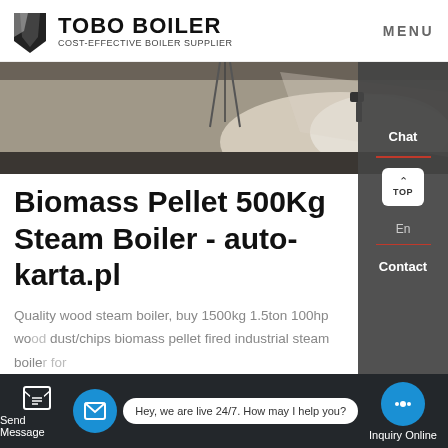TOBO BOILER — COST-EFFECTIVE BOILER SUPPLIER | MENU
[Figure (photo): Interior photo showing a reflective floor surface with light reflections, bottom strip shows dark flooring transition]
Biomass Pellet 500Kg Steam Boiler - auto-karta.pl
Quality wood steam boiler, buy 1500kg 1.5ton 100hp wood dust/chips biomass pellet fired industrial steam boiler for greenhouse from Henan Jinzhen Boiler Co. Get A Quote 500kg wood pellet steam generator / boiler - Buy steam
Learn More
Send Message | Hey, we are live 24/7. How may I help you? | Inquiry Online